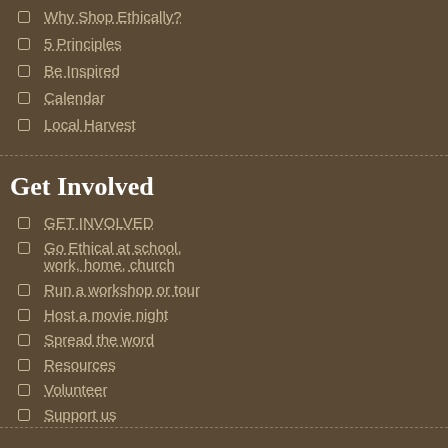Why Shop Ethically?
5 Principles
Be Inspired
Calendar
Local Harvest
Get Involved
GET INVOLVED
Go Ethical at school, work, home, church
Run a workshop or tour
Host a movie night
Spread the word
Resources
Volunteer
Support us